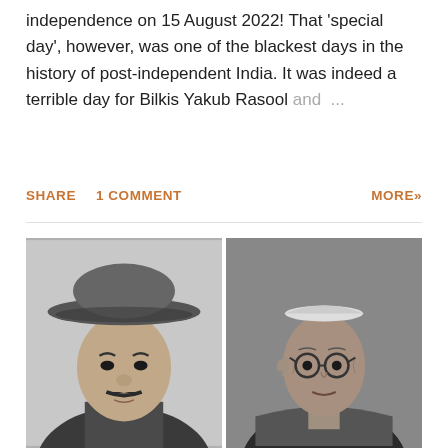independence on 15 August 2022! That 'special day', however, was one of the blackest days in the history of post-independent India. It was indeed a terrible day for Bilkis Yakub Rasool and ...
SHARE   1 COMMENT   MORE»
[Figure (photo): Two black and white historical photographs side by side. Left: a young man wearing a wide-brimmed hat with a mustache (resembling Bhagat Singh). Right: an elderly man wearing round glasses and a small cap (resembling Bal Gangadhar Tilak or similar figure).]